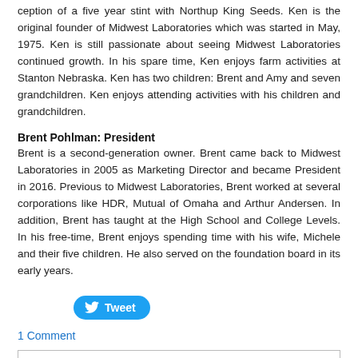ception of a five year stint with Northup King Seeds. Ken is the original founder of Midwest Laboratories which was started in May, 1975. Ken is still passionate about seeing Midwest Laboratories continued growth. In his spare time, Ken enjoys farm activities at Stanton Nebraska. Ken has two children: Brent and Amy and seven grandchildren. Ken enjoys attending activities with his children and grandchildren.
Brent Pohlman: President
Brent is a second-generation owner. Brent came back to Midwest Laboratories in 2005 as Marketing Director and became President in 2016. Previous to Midwest Laboratories, Brent worked at several corporations like HDR, Mutual of Omaha and Arthur Andersen. In addition, Brent has taught at the High School and College Levels. In his free-time, Brent enjoys spending time with his wife, Michele and their five children. He also served on the foundation board in its early years.
[Figure (other): Tweet button with Twitter bird icon]
1 Comment
[Figure (other): Empty comment input box]